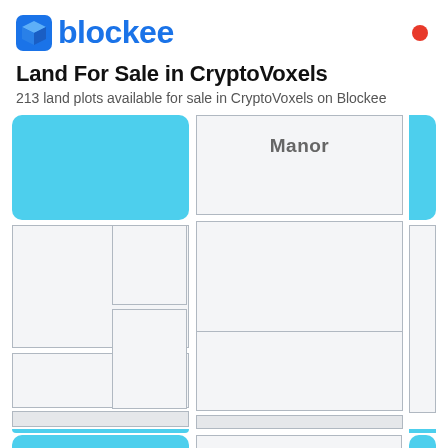blockee
Land For Sale in CryptoVoxels
213 land plots available for sale in CryptoVoxels on Blockee
[Figure (screenshot): Grid layout of land plots in CryptoVoxels, showing rectangular plot cards with cyan/blue highlighted plots and white/gray empty plots. One plot is labeled 'Manor'. This represents a map or listing grid of virtual land parcels.]